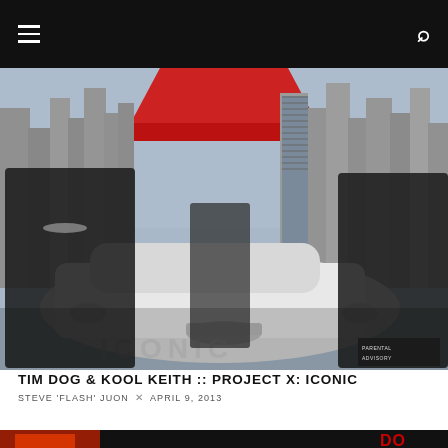[Figure (photo): Album cover for Tim Dog & Kool Keith's Project X: Iconic — three hip-hop artists in black clothing posed around a white luxury car with a city skyline and red-roofed building in background. Text at bottom reads ICONIC.]
TIM DOG & KOOL KEITH :: PROJECT X: ICONIC
STEVE 'FLASH' JUON × APRIL 9, 2013
[Figure (photo): Partial view of another album cover featuring red/orange/black graphic elements and partial red text visible at right edge.]